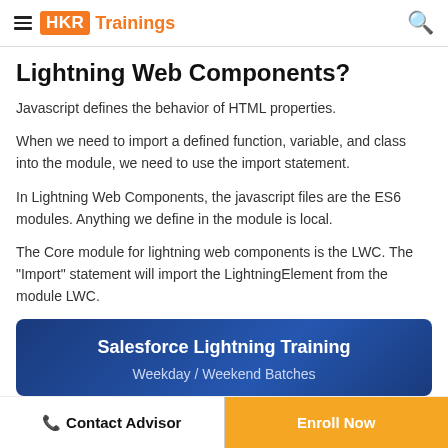HKR Trainings
Lightning Web Components?
Javascript defines the behavior of HTML properties.
When we need to import a defined function, variable, and class into the module, we need to use the import statement.
In Lightning Web Components, the javascript files are the ES6 modules. Anything we define in the module is local.
The Core module for lightning web components is the LWC. The "Import" statement will import the LightningElement from the module LWC.
[Figure (infographic): Banner for Salesforce Lightning Training with title 'Salesforce Lightning Training' and subtitle 'Weekday / Weekend Batches' on a dark blue background]
Contact Advisor | Enroll Now